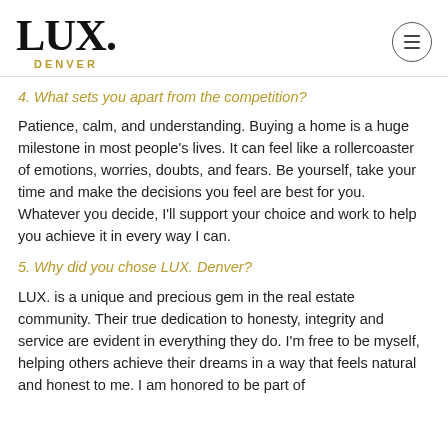LUX. DENVER
4. What sets you apart from the competition?
Patience, calm, and understanding. Buying a home is a huge milestone in most people's lives. It can feel like a rollercoaster of emotions, worries, doubts, and fears. Be yourself, take your time and make the decisions you feel are best for you. Whatever you decide, I'll support your choice and work to help you achieve it in every way I can.
5. Why did you chose LUX. Denver?
LUX. is a unique and precious gem in the real estate community. Their true dedication to honesty, integrity and service are evident in everything they do. I'm free to be myself, helping others achieve their dreams in a way that feels natural and honest to me. I am honored to be part of